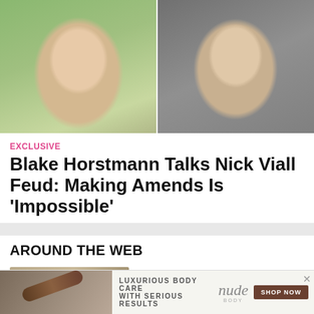[Figure (photo): Two side-by-side photos. Left: young man with blond hair and necklace outdoors with green foliage background. Right: man with short beard wearing earbuds and gray button-up shirt.]
EXCLUSIVE
Blake Horstmann Talks Nick Viall Feud: Making Amends Is 'Impossible'
AROUND THE WEB
[Figure (photo): Partial thumbnail image showing a close-up of an object, likely kitchen or lifestyle related.]
[Figure (advertisement): Advertisement banner for Nude brand body care. Text: LUXURIOUS BODY CARE WITH SERIOUS RESULTS. Shop Now button. X close button.]